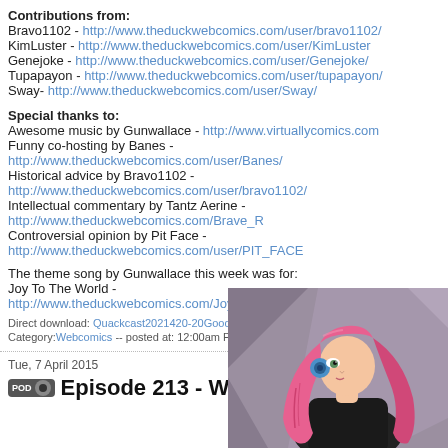Contributions from:
Bravo1102 - http://www.theduckwebcomics.com/user/bravo1102/
KimLuster - http://www.theduckwebcomics.com/user/KimLuster
Genejoke - http://www.theduckwebcomics.com/user/Genejoke/
Tupapayon - http://www.theduckwebcomics.com/user/tupapayon/
Sway- http://www.theduckwebcomics.com/user/Sway/
Special thanks to:
Awesome music by Gunwallace - http://www.virtuallycomics.com
Funny co-hosting by Banes - http://www.theduckwebcomics.com/user/Banes/
Historical advice by Bravo1102 - http://www.theduckwebcomics.com/user/bravo1102/
Intellectual commentary by Tantz Aerine - http://www.theduckwebcomics.com/Brave_R
Controversial opinion by Pit Face - http://www.theduckwebcomics.com/user/PIT_FACE
The theme song by Gunwallace this week was for:
Joy To The World - http://www.theduckwebcomics.com/Joy_To_The_World/ by Wrathb
Direct download: Quackcast2021420-20Good20chracter2C20bad20character.mp3
Category:Webcomics -- posted at: 12:00am PDT
Tue, 7 April 2015
Episode 213 - What makes a good characte
[Figure (illustration): Anime-style illustration of a woman with long pink hair, wearing a black outfit, with a blue headphone/earpiece, shown from behind/side profile against a grey/purple diagonal striped background.]